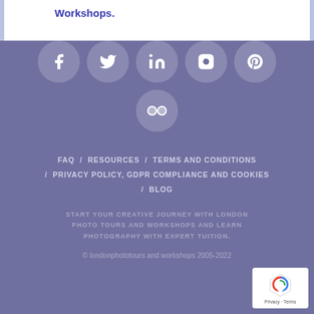Workshops.
[Figure (illustration): Social media icon circles: Facebook, Twitter, LinkedIn, Instagram, Pinterest, Flickr on a muted blue-grey footer background]
FAQ / RESOURCES / TERMS AND CONDITIONS / PRIVACY POLICY, GDPR COMPLIANCE AND COOKIES / BLOG
START YOUR CREATIVE JOURNEY WITH LONDON PHOTO TOURS AND WORKSHOPS AND LEARN PHOTOGRAPHY WITH EXPERT TUITION.
© londonphototours and workshops 2005-2022